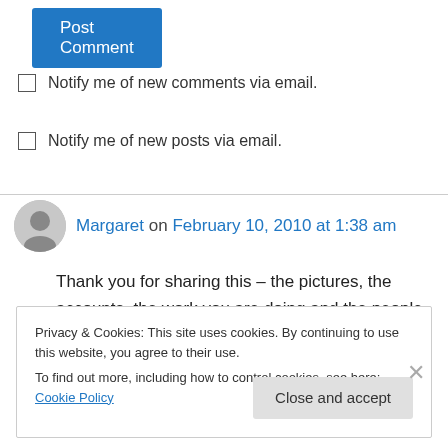Post Comment
Notify me of new comments via email.
Notify me of new posts via email.
Margaret on February 10, 2010 at 1:38 am
Thank you for sharing this – the pictures, the accounts, the work you are doing and the people you are working with. Like you, and like many, I
Privacy & Cookies: This site uses cookies. By continuing to use this website, you agree to their use.
To find out more, including how to control cookies, see here: Cookie Policy
Close and accept